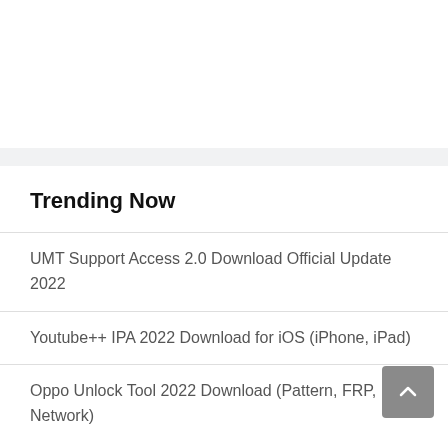Trending Now
UMT Support Access 2.0 Download Official Update 2022
Youtube++ IPA 2022 Download for iOS (iPhone, iPad)
Oppo Unlock Tool 2022 Download (Pattern, FRP, Network)